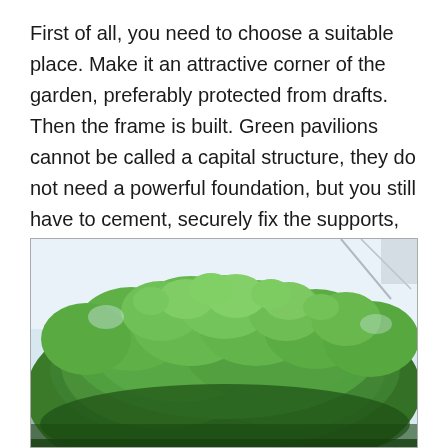First of all, you need to choose a suitable place. Make it an attractive corner of the garden, preferably protected from drafts. Then the frame is built. Green pavilions cannot be called a capital structure, they do not need a powerful foundation, but you still have to cement, securely fix the supports, vertical beams. The exceptions are cases when woody plants and trees are the basis of a living gazebo. They themselves will become a reliable support for green walls..
[Figure (photo): A dense green hedge or bush with lush foliage, likely thuja or similar coniferous shrub, photographed outdoors with a light sky and building structure partially visible behind it.]